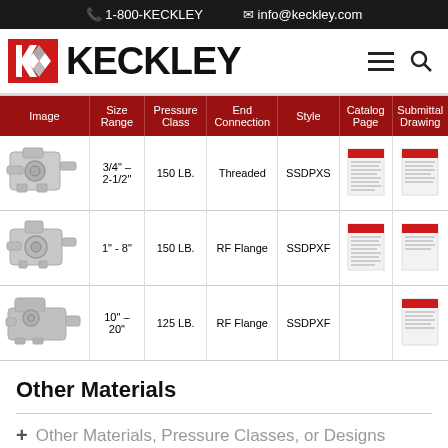📞 1-800-KECKLEY   ✉ info@keckley.com
[Figure (logo): Keckley company logo with red KK diamond mark and bold KECKLEY text]
| Image | Size Range | Pressure Class | End Connection | Style | Catalog Page | Submittal Drawing |
| --- | --- | --- | --- | --- | --- | --- |
| [pump image] | 3/4" - 2-1/2" | 150 LB. | Threaded | SSDPXS | [doc thumbnail] | [doc thumbnail] |
| [pump image] | 1" - 8" | 150 LB. | RF Flange | SSDPXF | [doc thumbnail] | [doc thumbnail] |
| [pump image] | 10" - 20" | 125 LB. | RF Flange | SSDPXF |  | [doc thumbnail] |
Other Materials
+ Other Materials, Pressure Classes, or Designs